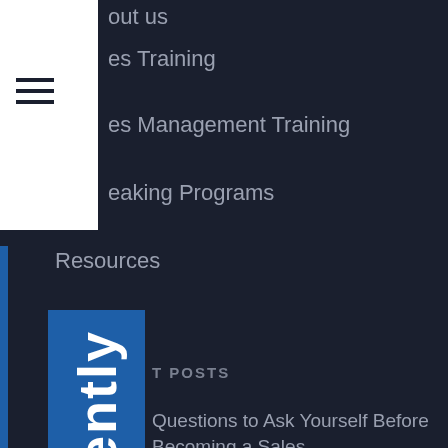out us
es Training
es Management Training
eaking Programs
Resources
T POSTS
Questions to Ask Yourself Before Becoming a Sales er
e Working Doesn't Mean Remote Sales Management
Reasons I Didn't Buy Your Services
ACT
[Figure (other): Vertical blue sidebar with white text reading 'Consistently' written vertically]